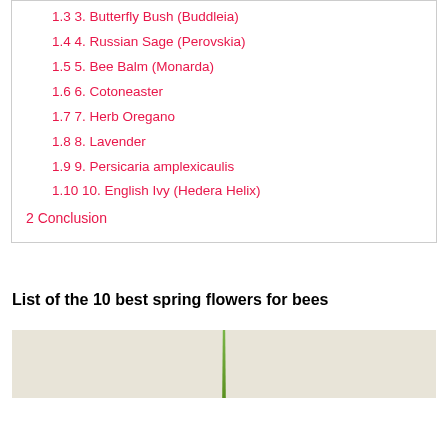1.3 3. Butterfly Bush (Buddleia)
1.4 4. Russian Sage (Perovskia)
1.5 5. Bee Balm (Monarda)
1.6 6. Cotoneaster
1.7 7. Herb Oregano
1.8 8. Lavender
1.9 9. Persicaria amplexicaulis
1.10 10. English Ivy (Hedera Helix)
2 Conclusion
List of the 10 best spring flowers for bees
[Figure (photo): Partial image of a plant stem on a light beige background, cropped at bottom of page]